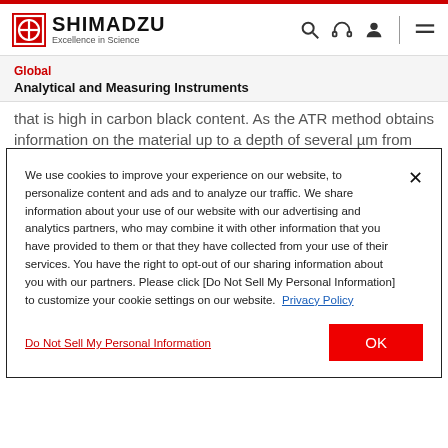SHIMADZU Excellence in Science
Global
Analytical and Measuring Instruments
that is high in carbon black content. As the ATR method obtains information on the material up to a depth of several µm from the
We use cookies to improve your experience on our website, to personalize content and ads and to analyze our traffic. We share information about your use of our website with our advertising and analytics partners, who may combine it with other information that you have provided to them or that they have collected from your use of their services. You have the right to opt-out of our sharing information about you with our partners. Please click [Do Not Sell My Personal Information] to customize your cookie settings on our website.  Privacy Policy
Do Not Sell My Personal Information
OK